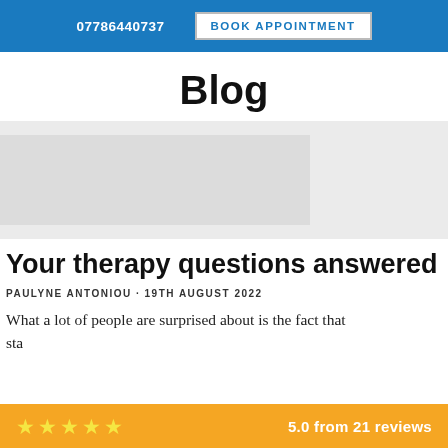07786440737  BOOK APPOINTMENT
Blog
[Figure (other): Greyed out image placeholder card area for a blog post thumbnail]
Your therapy questions answered
PAULYNE ANTONIOU · 19TH AUGUST 2022
What a lot of people are surprised about is the fact that... sta...
5.0 from 21 reviews